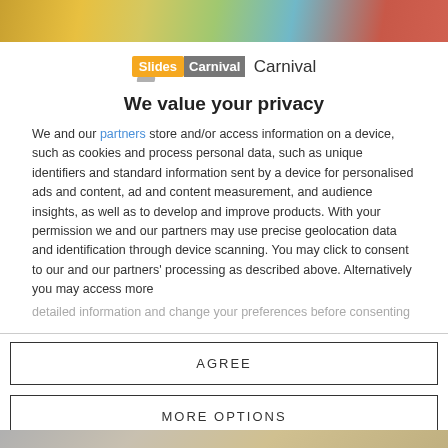[Figure (photo): Colorful decorative banner image at top of modal]
[Figure (logo): SlidesCarnival logo with orange Slides badge and grey Carnival text]
We value your privacy
We and our partners store and/or access information on a device, such as cookies and process personal data, such as unique identifiers and standard information sent by a device for personalised ads and content, ad and content measurement, and audience insights, as well as to develop and improve products. With your permission we and our partners may use precise geolocation data and identification through device scanning. You may click to consent to our and our partners' processing as described above. Alternatively you may access more detailed information and change your preferences before consenting
AGREE
MORE OPTIONS
[Figure (photo): Colorful decorative banner image at bottom of modal]